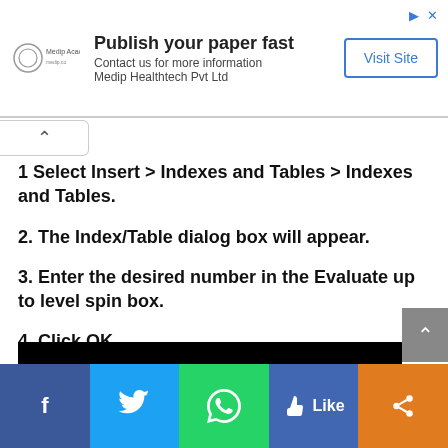[Figure (other): Advertisement banner: Medip Academy logo, text 'Publish your paper fast / Contact us for more information / Medip Healthtech Pvt Ltd', and a 'Visit Site' button]
1 Select Insert > Indexes and Tables > Indexes and Tables.
2. The Index/Table dialog box will appear.
3. Enter the desired number in the Evaluate up to level spin box.
4. Click OK
[Figure (screenshot): Screenshot preview strip at bottom of page content]
[Figure (other): Social share bar with Facebook, Twitter, WhatsApp, Like, and Share buttons]